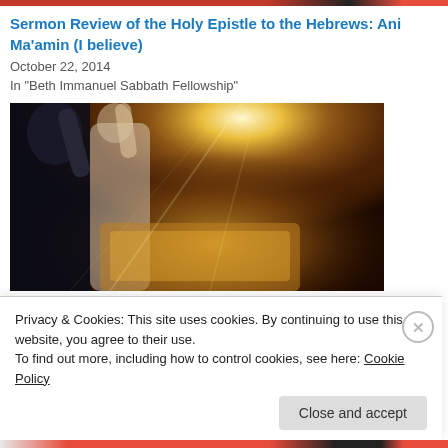Sermon Review of the Holy Epistle to the Hebrews: Ani Ma'amin (I believe)
October 22, 2014
In "Beth Immanuel Sabbath Fellowship"
[Figure (photo): People with raised hands in worship, bright golden light in background]
Privacy & Cookies: This site uses cookies. By continuing to use this website, you agree to their use.
To find out more, including how to control cookies, see here: Cookie Policy